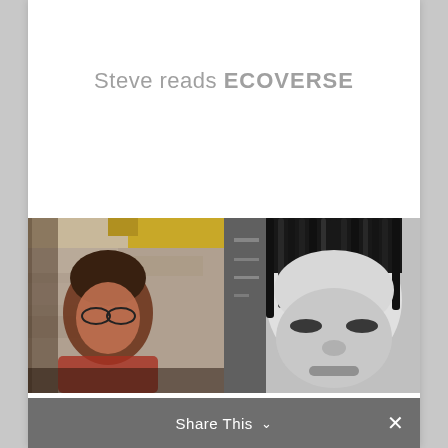Steve reads ECOVERSE
[Figure (photo): Left image: a person with glasses, warm orange/brown tones, outdoor setting with stone wall and yellow foliage]
[Figure (photo): Right image: a black and white close-up portrait of a person's face]
Share This ∨ ✕